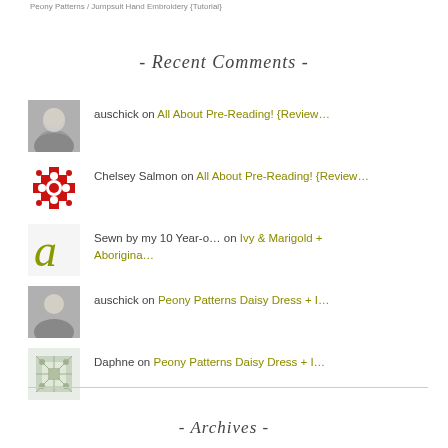Peony Patterns / Jumpsuit Hand Embroidery {Tutorial}
- Recent Comments -
auschick on All About Pre-Reading! {Review…
Chelsey Salmon on All About Pre-Reading! {Review…
Sewn by my 10 Year-o… on Ivy & Marigold + Aborigina…
auschick on Peony Patterns Daisy Dress + I…
Daphne on Peony Patterns Daisy Dress + I…
- Archives -